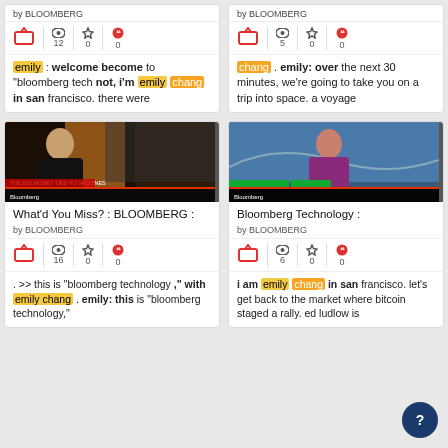by BLOOMBERG
emily : welcome become to "bloomberg tech not, i'm emily chang in san francisco. there were
by BLOOMBERG
chang . emily: over the next 30 minutes, we're going to take you on a trip into space. a voyage
[Figure (screenshot): Bloomberg TV screenshot - What'd You Miss? show, woman being interviewed]
What'd You Miss? : BLOOMBERG : by BLOOMBERG
. >> this is "bloomberg technology ," with emily chang . emily: this is "bloomberg technology,"
[Figure (screenshot): Bloomberg TV screenshot - Bloomberg Technology show, female anchor in purple jacket]
Bloomberg Technology : by BLOOMBERG
i am emily chang in san francisco. let's get back to the market where bitcoin staged a rally. ed ludlow is